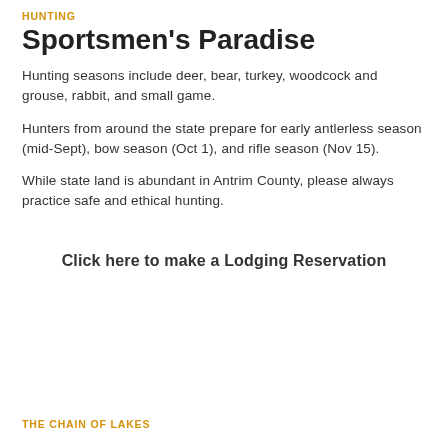HUNTING
Sportsmen's Paradise
Hunting seasons include deer, bear, turkey, woodcock and grouse, rabbit, and small game.
Hunters from around the state prepare for early antlerless season (mid-Sept), bow season (Oct 1), and rifle season (Nov 15).
While state land is abundant in Antrim County, please always practice safe and ethical hunting.
Click here to make a Lodging Reservation
THE CHAIN OF LAKES